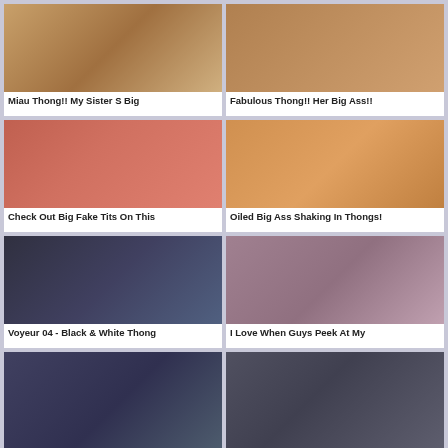[Figure (photo): Video thumbnail - adult content]
Miau Thong!! My Sister S Big
[Figure (photo): Video thumbnail - adult content]
Fabulous Thong!! Her Big Ass!!
[Figure (photo): Video thumbnail - adult content]
Check Out Big Fake Tits On This
[Figure (photo): Video thumbnail - adult content]
Oiled Big Ass Shaking In Thongs!
[Figure (photo): Video thumbnail - adult content]
Voyeur 04 - Black & White Thong
[Figure (photo): Video thumbnail - adult content]
I Love When Guys Peek At My
[Figure (photo): Video thumbnail - adult content]
[Figure (photo): Video thumbnail - adult content]